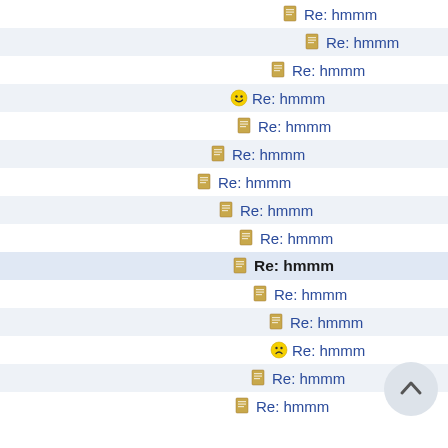Re: hmmm
Re: hmmm
Re: hmmm
Re: hmmm
Re: hmmm
Re: hmmm
Re: hmmm
Re: hmmm
Re: hmmm
Re: hmmm
Re: hmmm
Re: hmmm
Re: hmmm
Re: hmmm
Re: hmmm
Re: hmmm